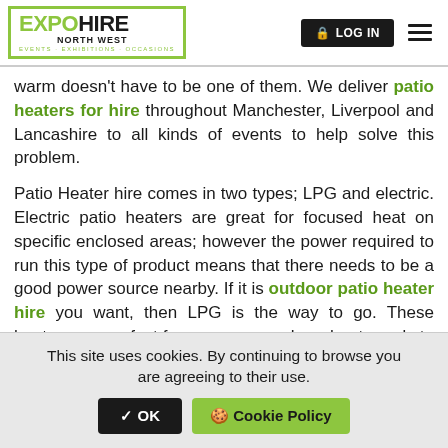EXPO HIRE NORTH WEST - EVENTS · EXHIBITIONS · OCCASIONS | LOG IN
warm doesn't have to be one of them. We deliver patio heaters for hire throughout Manchester, Liverpool and Lancashire to all kinds of events to help solve this problem.
Patio Heater hire comes in two types; LPG and electric. Electric patio heaters are great for focused heat on specific enclosed areas; however the power required to run this type of product means that there needs to be a good power source nearby. If it is outdoor patio heater hire you want, then LPG is the way to go. These heaters are perfect for open areas where heat needs to be radiated outwards.
This site uses cookies. By continuing to browse you are agreeing to their use. ✔ OK 🍪 Cookie Policy